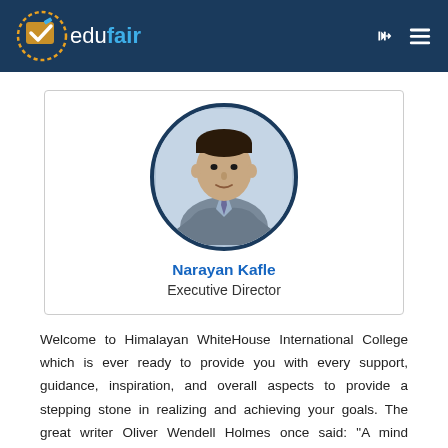edufair
[Figure (photo): Circular portrait photo of Narayan Kafle, a man in a grey suit and blue tie]
Narayan Kafle
Executive Director
Welcome to Himalayan WhiteHouse International College which is ever ready to provide you with every support, guidance, inspiration, and overall aspects to provide a stepping stone in realizing and achieving your goals. The great writer Oliver Wendell Holmes once said: "A mind stretched by a